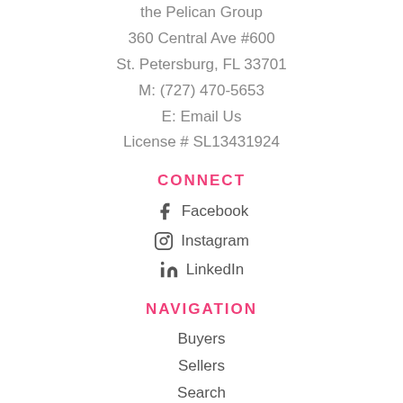the Pelican Group
360 Central Ave #600
St. Petersburg, FL 33701
M: (727) 470-5653
E: Email Us
License # SL13431924
CONNECT
Facebook
Instagram
LinkedIn
NAVIGATION
Buyers
Sellers
Search
Communities
About